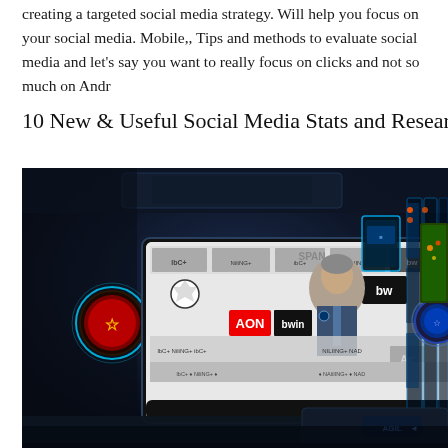creating a targeted social media strategy. Will help you focus on your social media. Mobile,, Tips and methods to evaluate social media and let's say you want to really focus on clicks and not so much on Android
10 New & Useful Social Media Stats and Research Stu
[Figure (photo): A futuristic virtual TV broadcast studio with glowing blue neon panels and multiple curved digital screens. A central screen shows a man being interviewed in front of sports sponsor logos including AON, bwin, Manchester United logo. The studio has a dark, high-tech aesthetic with blue illuminated display panels on the right side and a football match broadcast visible in the upper right corner.]